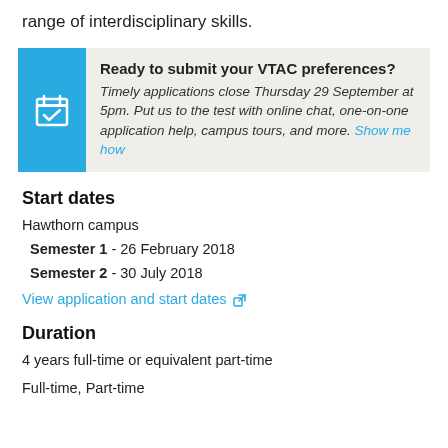range of interdisciplinary skills.
Ready to submit your VTAC preferences? Timely applications close Thursday 29 September at 5pm. Put us to the test with online chat, one-on-one application help, campus tours, and more. Show me how
Start dates
Hawthorn campus
Semester 1 - 26 February 2018
Semester 2 - 30 July 2018
View application and start dates
Duration
4 years full-time or equivalent part-time
Full-time, Part-time